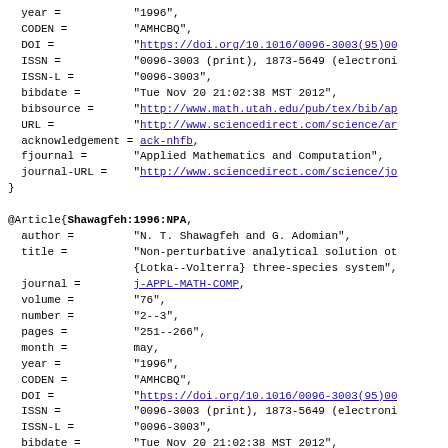year =           "1996",
  CODEN =          "AMHCBQ",
  DOI =            "https://doi.org/10.1016/0096-3003(95)0...
  ISSN =           "0096-3003 (print), 1873-5649 (electroni...
  ISSN-L =         "0096-3003",
  bibdate =        "Tue Nov 20 21:02:38 MST 2012",
  bibsource =      "http://www.math.utah.edu/pub/tex/bib/ap...
  URL =            "http://www.sciencedirect.com/science/ar...
  acknowledgement = ack-nhfb,
  fjournal =       "Applied Mathematics and Computation",
  journal-URL =    "http://www.sciencedirect.com/science/jo...
}
@Article{Shawagfeh:1996:NPA,
  author =         "N. T. Shawagfeh and G. Adomian",
  title =          "Non-perturbative analytical solution of
                   {Lotka--Volterra} three-species system",
  journal =        j-APPL-MATH-COMP,
  volume =         "76",
  number =         "2--3",
  pages =          "251--266",
  month =          may,
  year =           "1996",
  CODEN =          "AMHCBQ",
  DOI =            "https://doi.org/10.1016/0096-3003(95)00...
  ISSN =           "0096-3003 (print), 1873-5649 (electroni...
  ISSN-L =         "0096-3003",
  bibdate =        "Tue Nov 20 21:02:38 MST 2012",
  bibsource =      "http://www.math.utah.edu/pub/tex/bib/ap...
  URL =            "http://www.sciencedirect.com/science/ar...